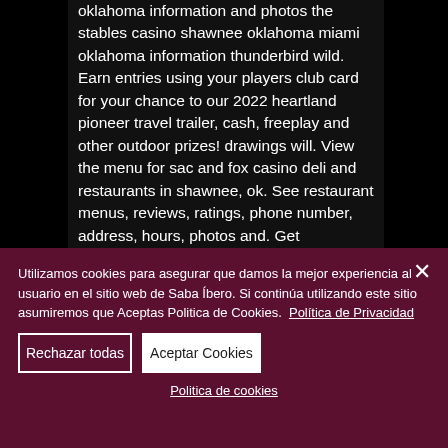oklahoma information and photos the stables casino shawnee oklahoma miami oklahoma information thunderbird wild. Earn entries using your players club card for your chance to our 2022 heartland pioneer travel trailer, cash, freeplay and other outdoor prizes! drawings will. View the menu for sac and fox casino deli and restaurants in shawnee, ok. See restaurant menus, reviews, ratings, phone number, address, hours, photos and. Get directions, reviews and information for sac &amp; fox casino in shawnee, ok.
Utilizamos cookies para asegurar que damos la mejor experiencia al usuario en el sitio web de Saba Íbero. Si continúa utilizando este sitio asumiremos que Aceptas Politica de Cookies. Política de Privacidad
Rechazar todas
Aceptar Cookies
Politica de cookies